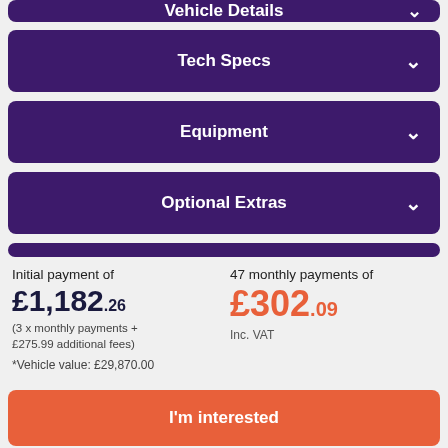Vehicle Details
Tech Specs
Equipment
Optional Extras
Initial payment of
£1,182.26
(3 x monthly payments + £275.99 additional fees)
*Vehicle value: £29,870.00
47 monthly payments of
£302.09
Inc. VAT
I'm interested
Fill in the form and get your personalised offer. The advertiser will confirm final offer details.